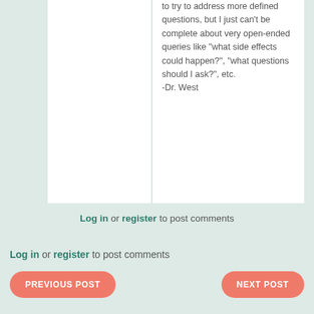to try to address more defined questions, but I just can't be complete about very open-ended queries like "what side effects could happen?", "what questions should I ask?", etc. -Dr. West
Log in or register to post comments
Log in or register to post comments
PREVIOUS POST
NEXT POST